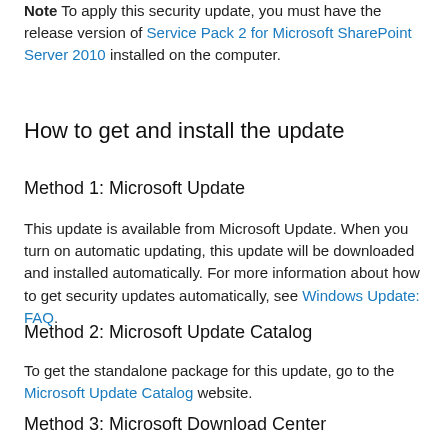Note To apply this security update, you must have the release version of Service Pack 2 for Microsoft SharePoint Server 2010 installed on the computer.
How to get and install the update
Method 1: Microsoft Update
This update is available from Microsoft Update. When you turn on automatic updating, this update will be downloaded and installed automatically. For more information about how to get security updates automatically, see Windows Update: FAQ.
Method 2: Microsoft Update Catalog
To get the standalone package for this update, go to the Microsoft Update Catalog website.
Method 3: Microsoft Download Center
You can get the standalone update package through the